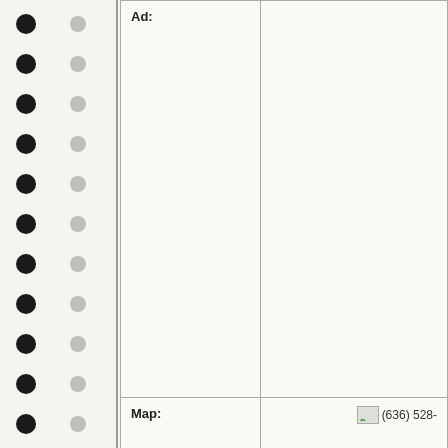| Field | Value |
| --- | --- |
| Ad: |  |
| Map: | (636) 528- |
| Major Intersections: | Lincoln Dr S & Old Cap Au Gris Ro |
| Facebook: | n/a |